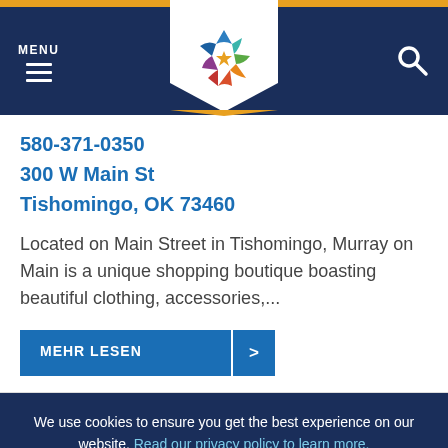MENU [hamburger icon] [logo] [search icon]
580-371-0350
300 W Main St
Tishomingo, OK 73460
Located on Main Street in Tishomingo, Murray on Main is a unique shopping boutique boasting beautiful clothing, accessories,...
MEHR LESEN  >
We use cookies to ensure you get the best experience on our website. Read our privacy policy to learn more.
I Agree